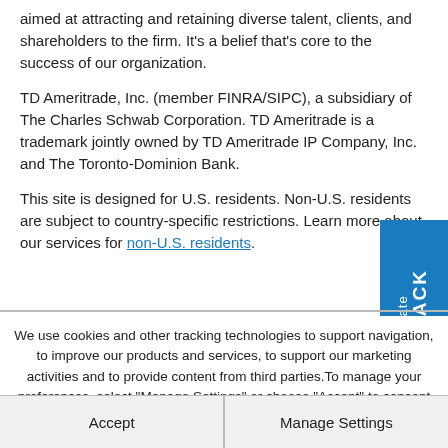aimed at attracting and retaining diverse talent, clients, and shareholders to the firm. It's a belief that's core to the success of our organization.
TD Ameritrade, Inc. (member FINRA/SIPC), a subsidiary of The Charles Schwab Corporation. TD Ameritrade is a trademark jointly owned by TD Ameritrade IP Company, Inc. and The Toronto-Dominion Bank.
This site is designed for U.S. residents. Non-U.S. residents are subject to country-specific restrictions. Learn more about our services for non-U.S. residents.
We use cookies and other tracking technologies to support navigation, to improve our products and services, to support our marketing activities and to provide content from third parties. To manage your preferences, select "Manage Settings" or choose "Accept" to consent to the use of Cookies.